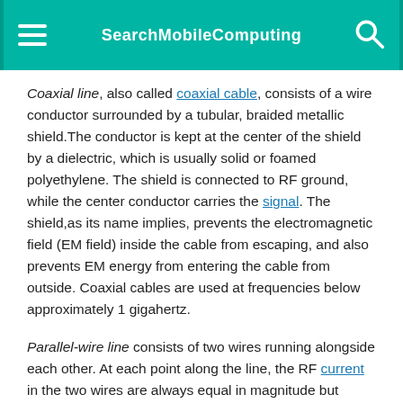SearchMobileComputing
Coaxial line, also called coaxial cable, consists of a wire conductor surrounded by a tubular, braided metallic shield.The conductor is kept at the center of the shield by a dielectric, which is usually solid or foamed polyethylene. The shield is connected to RF ground, while the center conductor carries the signal. The shield,as its name implies, prevents the electromagnetic field (EM field) inside the cable from escaping, and also prevents EM energy from entering the cable from outside. Coaxial cables are used at frequencies below approximately 1 gigahertz.
Parallel-wire line consists of two wires running alongside each other. At each point along the line, the RF current in the two wires are always equal in magnitude but opposite in direction. The two wires are